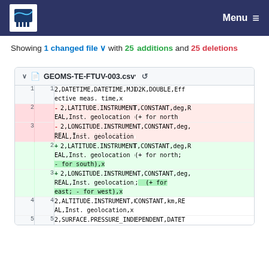NILU | Menu
Showing 1 changed file with 25 additions and 25 deletions
| old | new | code |
| --- | --- | --- |
| 1 | 1 | 2,DATETIME,DATETIME,MJD2K,DOUBLE,Effective meas. time,x |
| 2 |  | - 2,LATITUDE.INSTRUMENT,CONSTANT,deg,REAL,Inst. geolocation (+ for north |
| 3 |  | - 2,LONGITUDE.INSTRUMENT,CONSTANT,deg,REAL,Inst. geolocation |
|  | 2 | + 2,LATITUDE.INSTRUMENT,CONSTANT,deg,REAL,Inst. geolocation (+ for north; - for south),x |
|  | 3 | + 2,LONGITUDE.INSTRUMENT,CONSTANT,deg,REAL,Inst. geolocation; (+ for east; - for west),x |
| 4 | 4 | 2,ALTITUDE.INSTRUMENT,CONSTANT,km,REAL,Inst. geolocation,x |
| 5 | 5 | 2,SURFACE.PRESSURE_INDEPENDENT,DATET |